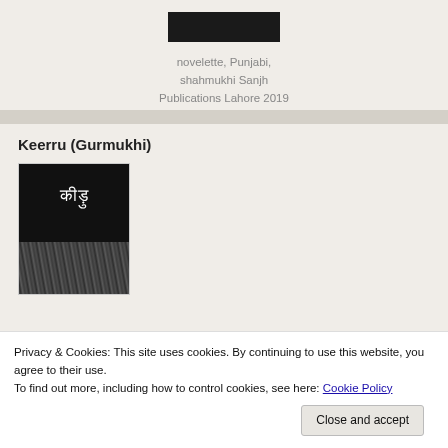[Figure (photo): Black book cover image cropped at top]
novelette, Punjabi, shahmukhi Sanjh Publications Lahore 2019
Keerru (Gurmukhi)
[Figure (photo): Black book cover with Gurmukhi text 'ਕੀੜੁ' in white and a textured palm leaf pattern at the bottom]
Privacy & Cookies: This site uses cookies. By continuing to use this website, you agree to their use.
To find out more, including how to control cookies, see here: Cookie Policy
Close and accept